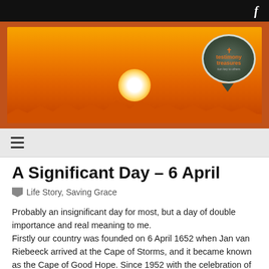f
[Figure (illustration): Testimony Treasures website banner showing a dramatic orange sunset with a white glowing sun on the horizon, flames/clouds silhouetted at the bottom, and a speech-bubble logo in the top right reading 'Testimony Treasures']
≡
A Significant Day – 6 April
Life Story, Saving Grace
Probably an insignificant day for most, but a day of double importance and real meaning to me.
Firstly our country was founded on 6 April 1652 when Jan van Riebeeck arrived at the Cape of Storms, and it became known as the Cape of Good Hope. Since 1952 with the celebration of our nation's third millennium, the 6th of April was declared a public holiday.